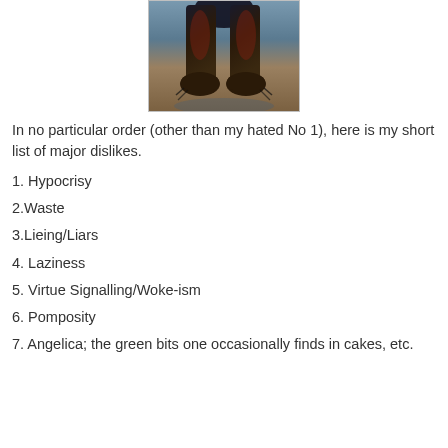[Figure (illustration): A dark painting showing lower body/legs of a figure in dark clothing and boots, against a blue-grey background]
In no particular order (other than my hated No 1), here is my short list of major dislikes.
1. Hypocrisy
2.Waste
3.Lieing/Liars
4. Laziness
5. Virtue Signalling/Woke-ism
6. Pomposity
7. Angelica; the green bits one occasionally finds in cakes, etc.